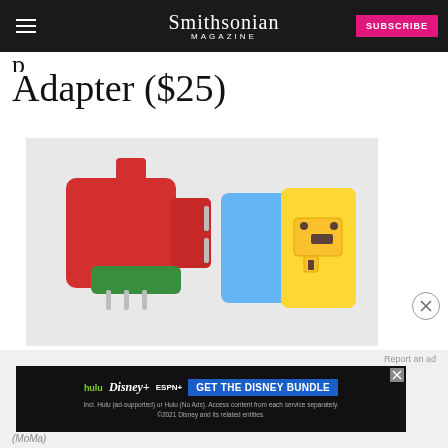Smithsonian MAGAZINE | SUBSCRIBE
Adapter ($25)
[Figure (photo): Two colorful travel plug adapters: a red and green one on the left with multiple plug pins, and a blue and yellow universal adapter on the right]
Report an ad
[Figure (infographic): Disney Bundle advertisement: hulu, Disney+, ESPN+ logos with 'GET THE DISNEY BUNDLE' button. Fine print: Incl. Hulu (ad-supported) or Hulu (No Ads). Access content from each service separately. ©2021 Disney and its related entities.]
(MoMa)